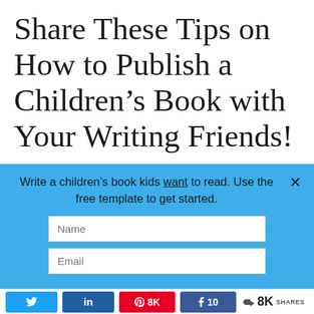Share These Tips on How to Publish a Children’s Book with Your Writing Friends!
Write a children’s book kids want to read. Use the free template to get started.
Name
Email
Twitter share | LinkedIn share | Pinterest 8K | Facebook 10 | < 8K SHARES